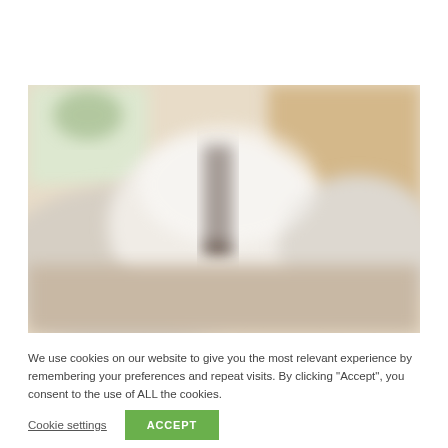[Figure (photo): Blurred photo of a bedroom/living room interior with soft white and beige tones, pillows and cushions visible on a bed or sofa, warm natural light in the background.]
We use cookies on our website to give you the most relevant experience by remembering your preferences and repeat visits. By clicking "Accept", you consent to the use of ALL the cookies.
Cookie settings
ACCEPT